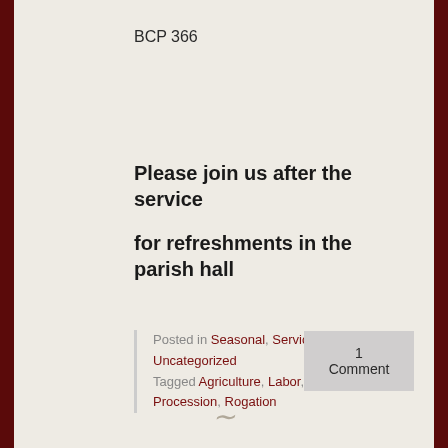BCP 366
Please join us after the service

for refreshments in the parish hall
Posted in Seasonal, Services and Events, Uncategorized
Tagged Agriculture, Labor, Olive St., Procession, Rogation
1 Comment
~